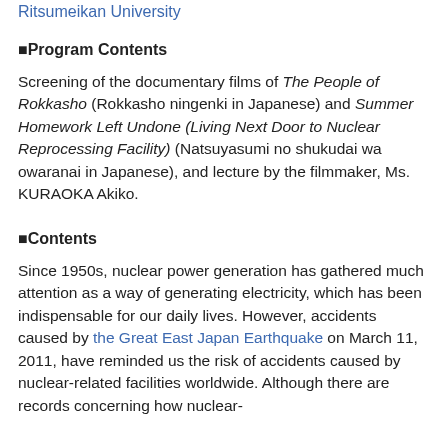Ritsumeikan University
■Program Contents
Screening of the documentary films of The People of Rokkasho (Rokkasho ningenki in Japanese) and Summer Homework Left Undone (Living Next Door to Nuclear Reprocessing Facility) (Natsuyasumi no shukudai wa owaranai in Japanese), and lecture by the filmmaker, Ms. KURAOKA Akiko.
■Contents
Since 1950s, nuclear power generation has gathered much attention as a way of generating electricity, which has been indispensable for our daily lives. However, accidents caused by the Great East Japan Earthquake on March 11, 2011, have reminded us the risk of accidents caused by nuclear-related facilities worldwide. Although there are records concerning how nuclear-